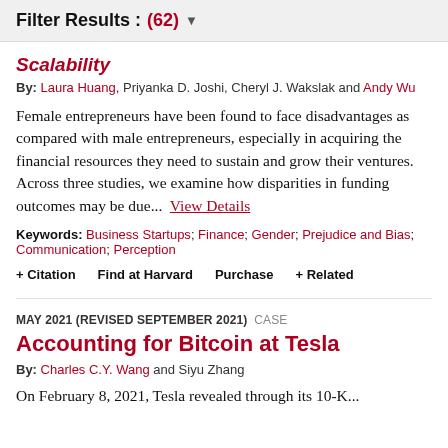Filter Results : (62)
Scalability
By: Laura Huang, Priyanka D. Joshi, Cheryl J. Wakslak and Andy Wu
Female entrepreneurs have been found to face disadvantages as compared with male entrepreneurs, especially in acquiring the financial resources they need to sustain and grow their ventures. Across three studies, we examine how disparities in funding outcomes may be due... View Details
Keywords: Business Startups; Finance; Gender; Prejudice and Bias; Communication; Perception
+ Citation   Find at Harvard   Purchase   + Related
MAY 2021 (REVISED SEPTEMBER 2021) CASE
Accounting for Bitcoin at Tesla
By: Charles C.Y. Wang and Siyu Zhang
On February 8, 2021, Tesla revealed through its 10-K...